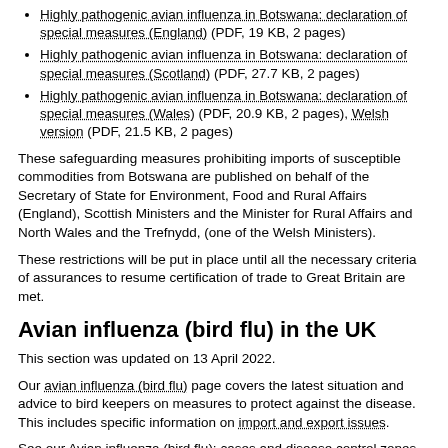Highly pathogenic avian influenza in Botswana: declaration of special measures (England) (PDF, 19 KB, 2 pages)
Highly pathogenic avian influenza in Botswana: declaration of special measures (Scotland) (PDF, 27.7 KB, 2 pages)
Highly pathogenic avian influenza in Botswana: declaration of special measures (Wales) (PDF, 20.9 KB, 2 pages), Welsh version (PDF, 21.5 KB, 2 pages)
These safeguarding measures prohibiting imports of susceptible commodities from Botswana are published on behalf of the Secretary of State for Environment, Food and Rural Affairs (England), Scottish Ministers and the Minister for Rural Affairs and North Wales and the Trefnydd, (one of the Welsh Ministers).
These restrictions will be put in place until all the necessary criteria of assurances to resume certification of trade to Great Britain are met.
Avian influenza (bird flu) in the UK
This section was updated on 13 April 2022.
Our avian influenza (bird flu) page covers the latest situation and advice to bird keepers on measures to protect against the disease. This includes specific information on import and export issues.
See our Avian influenza (bird flu): cases and disease control zones in